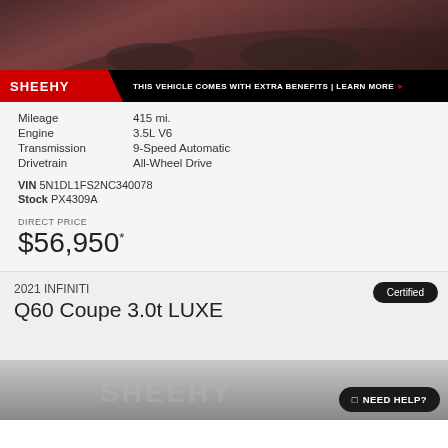[Figure (photo): Partial view of a dark red/maroon SUV vehicle from above/side angle]
SHEEHY | THIS VEHICLE COMES WITH EXTRA BENEFITS | LEARN MORE ▶
Mileage 415 mi.
Engine 3.5L V6
Transmission 9-Speed Automatic
Drivetrain All-Wheel Drive
VIN 5N1DL1FS2NC340078
Stock PX4309A
DIRECT PRICE
$56,950*
Certified
2021 INFINITI
Q60 Coupe 3.0t LUXE
[Figure (photo): Partial view of a vehicle with Sheehy watermark logo]
NEED HELP?